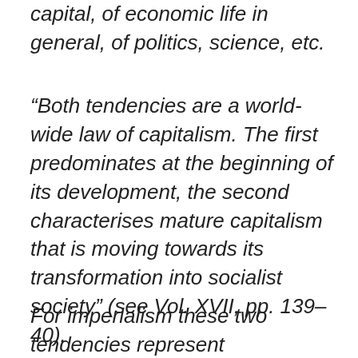capital, of economic life in general, of politics, science, etc.
“Both tendencies are a world-wide law of capitalism. The first predominates at the beginning of its development, the second characterises mature capitalism that is moving towards its transformation into socialist society” (see Vol. XVII, pp. 139–40).
For imperialism these two tendencies represent irreconcilable contradictions because imperialism...